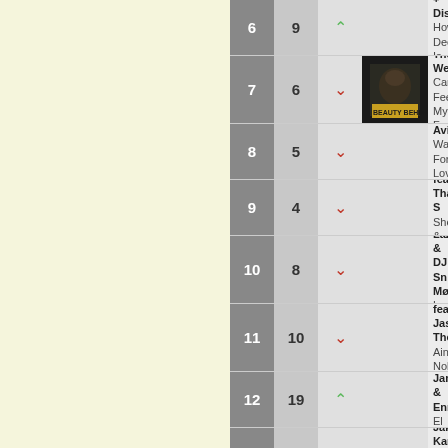| Rank | Prev | Trend | Art | Artist | Song |
| --- | --- | --- | --- | --- | --- |
| 6 | 9 | ↑ |  | Calvin Harris + Disciples | How Deep Is Your Love |
| 7 | 6 | ↓ | [img] | The Weeknd | Can't Feel My Face |
| 8 | 5 | ↓ |  | Avicii | Waiting For Love |
| 9 | 4 | ↓ |  | Vigiland feat. Tham S. | Shots & Squats |
| 10 | 8 | ↓ |  | Major Lazer & DJ Sna... Mø | Lean On |
| 11 | 10 | ↓ |  | Felix Jaehn feat. Jas... Thompson | Ain't Nobody (Loves M... |
| 12 | 19 | ↑ |  | Nicky Jam & Enrique... | El perdón |
| 13 | 11 | ↓ |  | Jakob Karlberg | Fan va bra |
| 14 | 13 | ↓ |  | Lost Frequencies | Are You With Me |